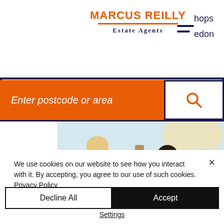Marcus Reilly Estate Agents
Enter postcode or area
[Figure (photo): Two children blowing bubbles outdoors in a garden setting]
We use cookies on our website to see how you interact with it. By accepting, you agree to our use of such cookies. Privacy Policy
Decline All
Accept
Settings